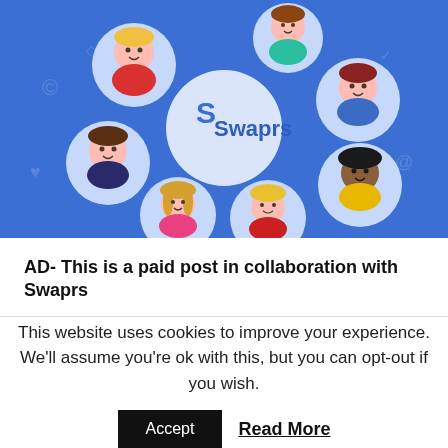[Figure (illustration): Swaprs branded illustration on a blue background showing multiple circular avatar icons of cartoon people connected around a central large white circle with the Swaprs logo (stylized S and text 'Swaprs'). Various social media icons are scattered in the background.]
AD- This is a paid post in collaboration with Swaprs
This website uses cookies to improve your experience. We'll assume you're ok with this, but you can opt-out if you wish.